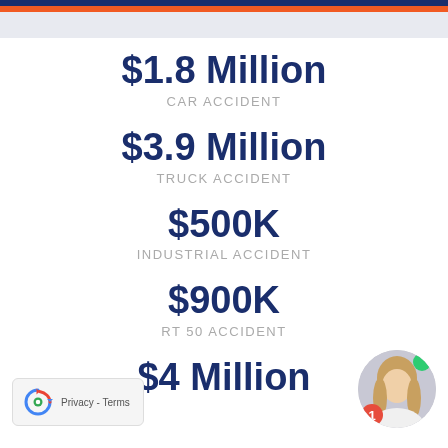$1.8 Million
CAR ACCIDENT
$3.9 Million
TRUCK ACCIDENT
$500K
INDUSTRIAL ACCIDENT
$900K
RT 50 ACCIDENT
$4 Million